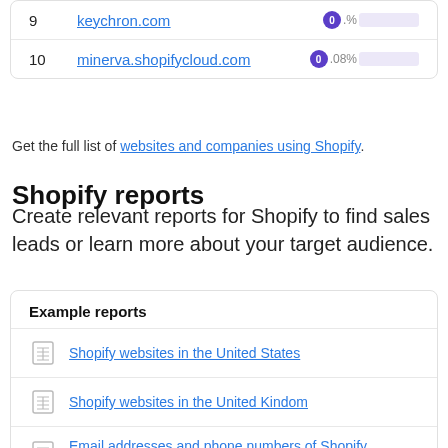| # | Website | Share |
| --- | --- | --- |
| 9 | keychron.com | 0.% |
| 10 | minerva.shopifycloud.com | 0.08% |
Get the full list of websites and companies using Shopify.
Shopify reports
Create relevant reports for Shopify to find sales leads or learn more about your target audience.
| Icon | Link |
| --- | --- |
| [icon] | Shopify websites in the United States |
| [icon] | Shopify websites in the United Kindom |
| [icon] | Email addresses and phone numbers of Shopify customers |